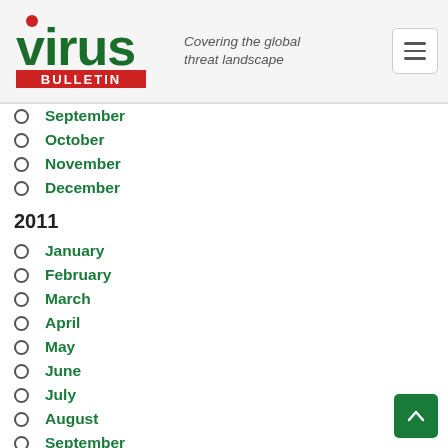Virus Bulletin — Covering the global threat landscape
September
October
November
December
2011
January
February
March
April
May
June
July
August
September